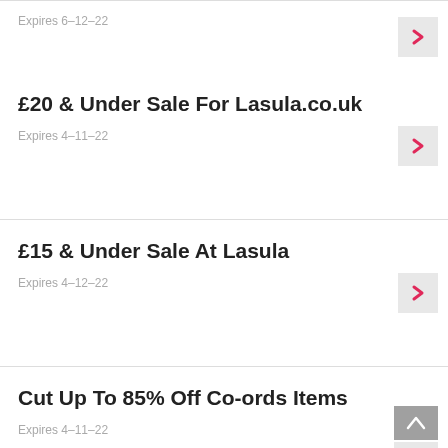Expires 6-12-22
£20 & Under Sale For Lasula.co.uk
Expires 4-11-22
£15 & Under Sale At Lasula
Expires 4-12-22
Cut Up To 85% Off Co-ords Items
Expires 4-11-22